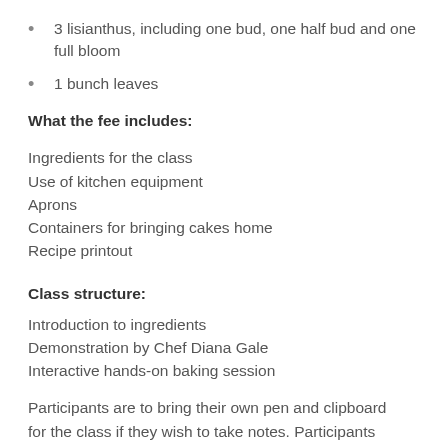3 lisianthus, including one bud, one half bud and one full bloom
1 bunch leaves
What the fee includes:
Ingredients for the class
Use of kitchen equipment
Aprons
Containers for bringing cakes home
Recipe printout
Class structure:
Introduction to ingredients
Demonstration by Chef Diana Gale
Interactive hands-on baking session
Participants are to bring their own pen and clipboard for the class if they wish to take notes. Participants